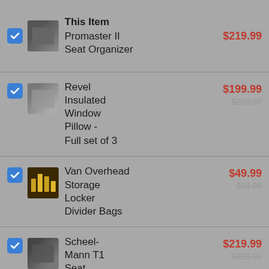This Item
Promaster II Seat Organizer
Revel Insulated Window Pillow - Full set of 3
Van Overhead Storage Locker Divider Bags
Scheel-Mann T1 Seat Organizer
Van Outer